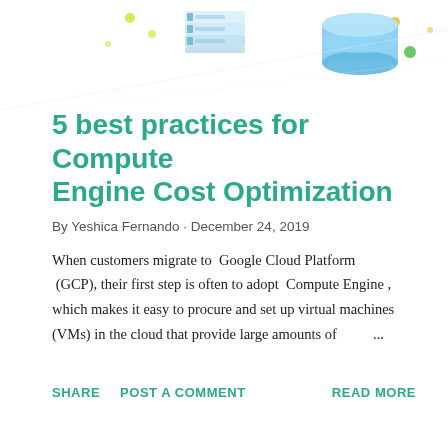[Figure (illustration): Isometric cloud computing illustration with server stacks and database icons on a white background with colorful decorative dots]
5 best practices for Compute Engine Cost Optimization
By Yeshica Fernando · December 24, 2019
When customers migrate to  Google Cloud Platform (GCP), their first step is often to adopt  Compute Engine , which makes it easy to procure and set up virtual machines (VMs) in the cloud that provide large amounts of  ...
SHARE   POST A COMMENT   READ MORE